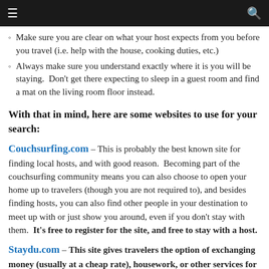≡  🔍
Make sure you are clear on what your host expects from you before you travel (i.e. help with the house, cooking duties, etc.)
Always make sure you understand exactly where it is you will be staying.  Don't get there expecting to sleep in a guest room and find a mat on the living room floor instead.
With that in mind, here are some websites to use for your search:
Couchsurfing.com – This is probably the best known site for finding local hosts, and with good reason.  Becoming part of the couchsurfing community means you can also choose to open your home up to travelers (though you are not required to), and besides finding hosts, you can also find other people in your destination to meet up with or just show you around, even if you don't stay with them.  It's free to register for the site, and free to stay with a host.
Staydu.com – This site gives travelers the option of exchanging money (usually at a cheap rate), housework, or other services for accommodation for a given stay. This